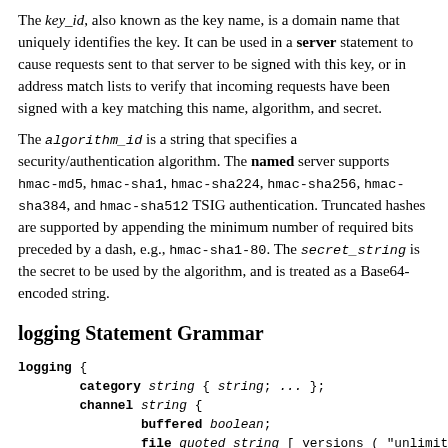The key_id, also known as the key name, is a domain name that uniquely identifies the key. It can be used in a server statement to cause requests sent to that server to be signed with this key, or in address match lists to verify that incoming requests have been signed with a key matching this name, algorithm, and secret.
The algorithm_id is a string that specifies a security/authentication algorithm. The named server supports hmac-md5, hmac-sha1, hmac-sha224, hmac-sha256, hmac-sha384, and hmac-sha512 TSIG authentication. Truncated hashes are supported by appending the minimum number of required bits preceded by a dash, e.g., hmac-sha1-80. The secret_string is the secret to be used by the algorithm, and is treated as a Base64-encoded string.
logging Statement Grammar
logging {
        category string { string; ... };
        channel string {
                buffered boolean;
                file quoted_string [ versions ( "unlimited | integer ) ] [ size size ];
                null;
                print-category boolean;
                print-severity boolean;
                print-time boolean;